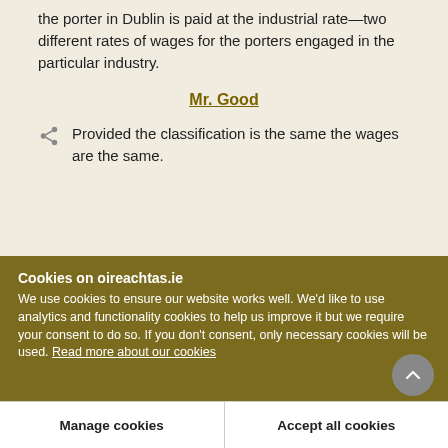the porter in Dublin is paid at the industrial rate—two different rates of wages for the porters engaged in the particular industry.
Mr. Good
Provided the classification is the same the wages are the same.
Cookies on oireachtas.ie
We use cookies to ensure our website works well. We'd like to use analytics and functionality cookies to help us improve it but we require your consent to do so. If you don't consent, only necessary cookies will be used. Read more about our cookies
Manage cookies
Accept all cookies